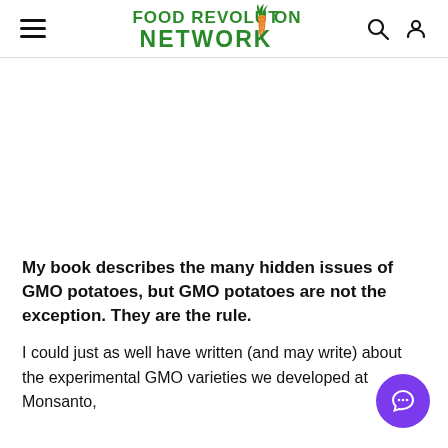Food Revolution Network
[Figure (logo): Food Revolution Network logo with green text and orange carrot replacing the letter I in REVOLUTION]
My book describes the many hidden issues of GMO potatoes, but GMO potatoes are not the exception. They are the rule.
I could just as well have written (and may write) about the experimental GMO varieties we developed at Monsanto,